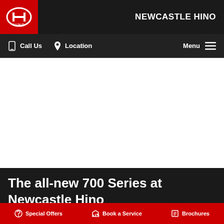[Figure (logo): Hino logo — red rectangle background with circular emblem and HINO text in white]
NEWCASTLE HINO
Call Us  Location  Menu
[Figure (photo): White/blank hero image area (truck image not visible)]
The all-new 700 Series at Newcastle Hino
Enquire Online  BOOK A TEST DRIVE
Special Offers  Book a Service  Brochures